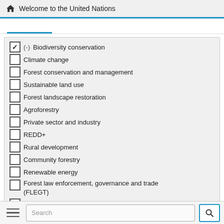Welcome to the United Nations
(-) Biodiversity conservation [checked]
Climate change
Forest conservation and management
Sustainable land use
Forest landscape restoration
Agroforestry
Private sector and industry
REDD+
Rural development
Community forestry
Renewable energy
Forest law enforcement, governance and trade (FLEGT)
Forest management certification